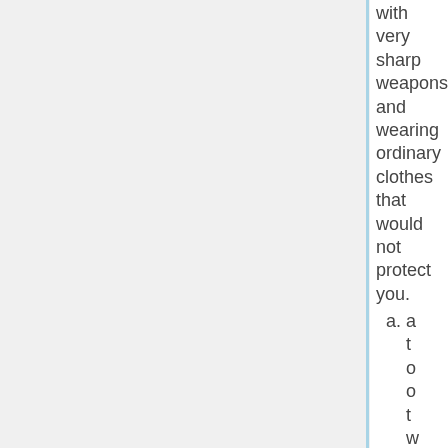with very sharp weapons and wearing ordinary clothes that would not protect you.
a. a t o o t w h